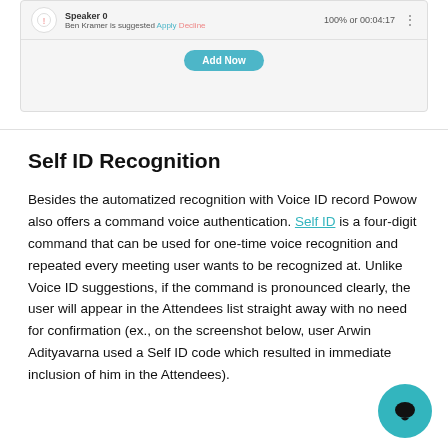[Figure (screenshot): UI screenshot showing a speaker row with 'Speaker 0', suggestion 'Ben Kramer is suggested Apply Decline', '100% or 00:04:17', and an 'Add Now' teal button below.]
Self ID Recognition
Besides the automatized recognition with Voice ID record Powow also offers a command voice authentication. Self ID is a four-digit command that can be used for one-time voice recognition and repeated every meeting user wants to be recognized at. Unlike Voice ID suggestions, if the command is pronounced clearly, the user will appear in the Attendees list straight away with no need for confirmation (ex., on the screenshot below, user Arwin Adityavarna used a Self ID code which resulted in immediate inclusion of him in the Attendees).